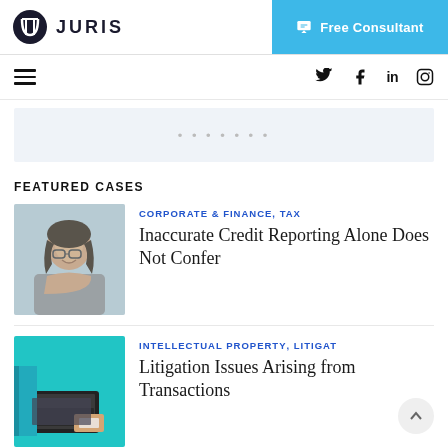JURIS | Free Consultant
[Figure (logo): Juris law firm logo with circular icon and text JURIS]
Free Consultant
[Figure (other): Navigation bar with hamburger menu and social icons: Twitter, Facebook, LinkedIn, Instagram]
[Figure (other): Banner placeholder area with dots]
FEATURED CASES
[Figure (photo): Young woman with glasses smiling outdoors]
CORPORATE & FINANCE, TAX
Inaccurate Credit Reporting Alone Does Not Confer
[Figure (photo): Person using laptop with teal background]
INTELLECTUAL PROPERTY, LITIGAT
Litigation Issues Arising from Transactions